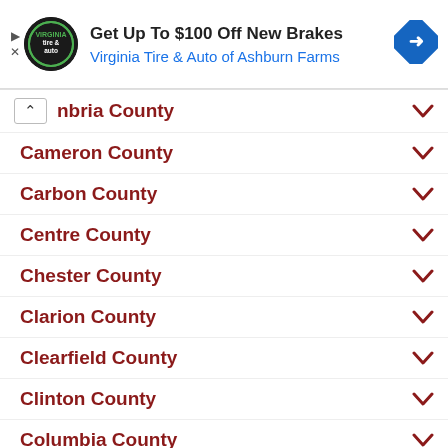[Figure (infographic): Advertisement banner for Virginia Tire & Auto of Ashburn Farms offering Get Up To $100 Off New Brakes, with circular logo and blue navigation arrow icon]
nbria County
Cameron County
Carbon County
Centre County
Chester County
Clarion County
Clearfield County
Clinton County
Columbia County
Crawford County